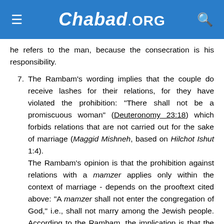Chabad.ORG
he refers to the man, because the consecration is his responsibility.
7. The Rambam's wording implies that the couple do receive lashes for their relations, for they have violated the prohibition: "There shall not be a promiscuous woman" (Deuteronomy 23:18) which forbids relations that are not carried out for the sake of marriage (Maggid Mishneh, based on Hilchot Ishut 1:4). The Rambam's opinion is that the prohibition against relations with a mamzer applies only within the context of marriage - depends on the prooftext cited above: "A mamzer shall not enter the congregation of God," i.e., shall not marry among the Jewish people. According to the Rambam, the implication is that the prohibition must involve marriage (Rav Avraham, the son of the Rambam, as quoted in the Kessef Mishneh). The Ra'avad, the Ramban, Rav Moshe HaCohen, and others do not agree with the Rambam's ruling and maintain that this